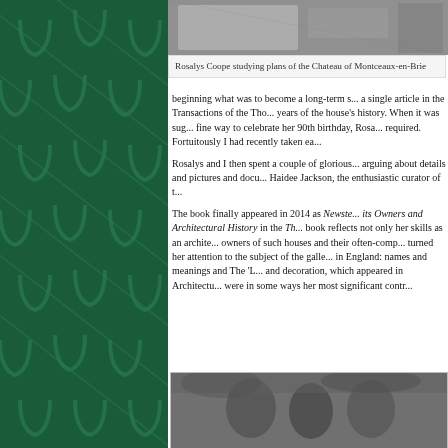[Figure (photo): Black and white photo of Rosalys Coope studying architectural plans of the Chateau of Montceaux-en-Brie]
Rosalys Coope studying plans of the Chateau of Montceaux-en-Brie
beginning what was to become a long-term s... a single article in the Transactions of the Tho... years of the house's history. When it was sug... fine way to celebrate her 90th birthday, Rosa... required. Fortuitously I had recently taken ea...
Rosalys and I then spent a couple of glorious... arguing about details and pictures and docu... Haidee Jackson, the enthusiastic curator of t...
The book finally appeared in 2014 as Newste... its Owners and Architectural History in the Th... book reflects not only her skills as an archite... owners of such houses and their often-comp... turned her attention to the subject of the galle... in England: names and meanings and The 'L... and decoration, which appeared in Architectu... were in some ways her most significant contr...
[Figure (photo): Black and white photo of people sitting outdoors, possibly at a garden or outdoor event]